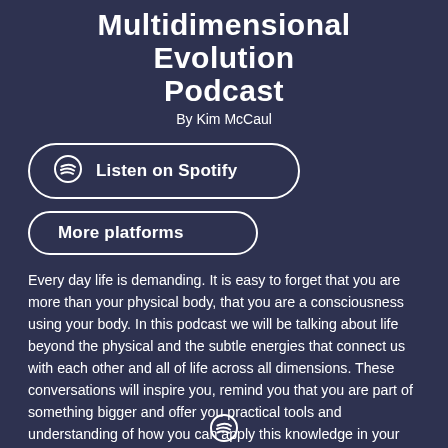Multidimensional Evolution Podcast
By Kim McCaul
[Figure (infographic): Listen on Spotify button with Spotify logo icon]
[Figure (infographic): More platforms button]
Every day life is demanding. It is easy to forget that you are more than your physical body, that you are a consciousness using your body. In this podcast we will be talking about life beyond the physical and the subtle energies that connect us with each other and all of life across all dimensions. These conversations will inspire you, remind you that you are part of something bigger and offer you practical tools and understanding of how you can apply this knowledge in your life to make sure you live the life you came here for.
[Figure (logo): Small Spotify logo icon at bottom center]